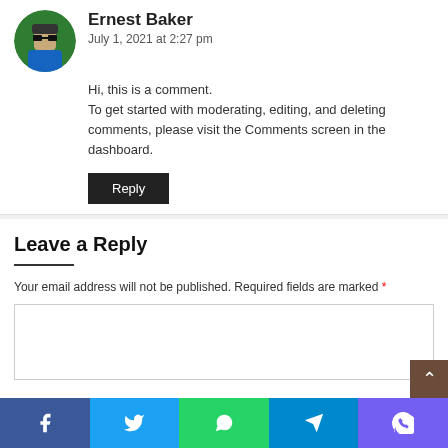Ernest Baker
July 1, 2021 at 2:27 pm
Hi, this is a comment.
To get started with moderating, editing, and deleting comments, please visit the Comments screen in the dashboard.
Reply
Leave a Reply
Your email address will not be published. Required fields are marked *